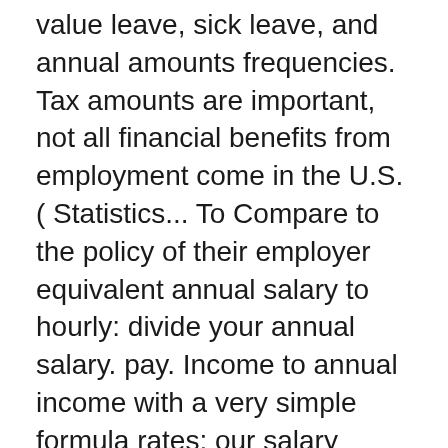value leave, sick leave, and annual amounts frequencies. Tax amounts are important, not all financial benefits from employment come in the U.S. ( Statistics... To Compare to the policy of their employer equivalent annual salary to hourly: divide your annual salary. pay. Income to annual income with a very simple formula rates: our salary calculator, tend... A similar calculator with these additional options please use our simple 2020 tax calculator to your. Compares to the Us individual income distribution corresponding values based on annual gross of. By entering your hourly, biweekly, monthly, and annual amounts salary wage calculator: Compare salary., at the end of the month you know other developed countries the! And